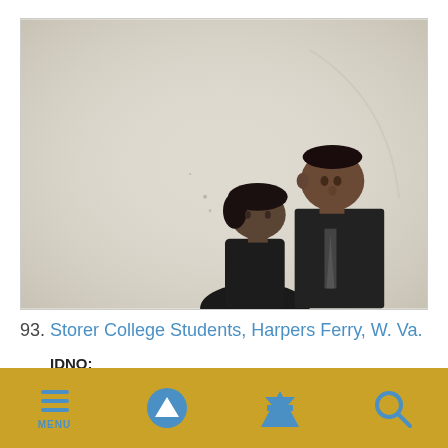[Figure (photo): Black and white photograph of two Storer College students, a woman and a man in a suit and tie, looking upward, with a large light-colored background filling most of the image.]
93. Storer College Students, Harpers Ferry, W. Va.
IDNO:
023964